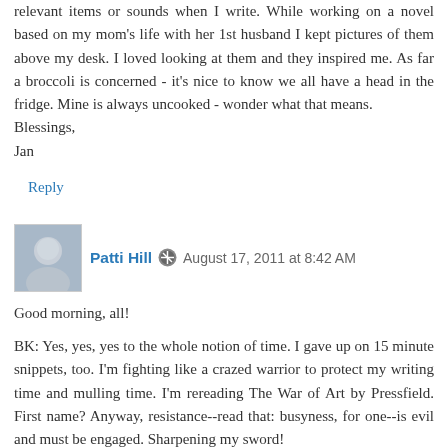relevant items or sounds when I write. While working on a novel based on my mom's life with her 1st husband I kept pictures of them above my desk. I loved looking at them and they inspired me. As far a broccoli is concerned - it's nice to know we all have a head in the fridge. Mine is always uncooked - wonder what that means.
Blessings,
Jan
Reply
Patti Hill  August 17, 2011 at 8:42 AM
Good morning, all!

BK: Yes, yes, yes to the whole notion of time. I gave up on 15 minute snippets, too. I'm fighting like a crazed warrior to protect my writing time and mulling time. I'm rereading The War of Art by Pressfield. First name? Anyway, resistance--read that: busyness, for one--is evil and must be engaged. Sharpening my sword!

Nicole: It sounds you're listening to your "broccoli" very